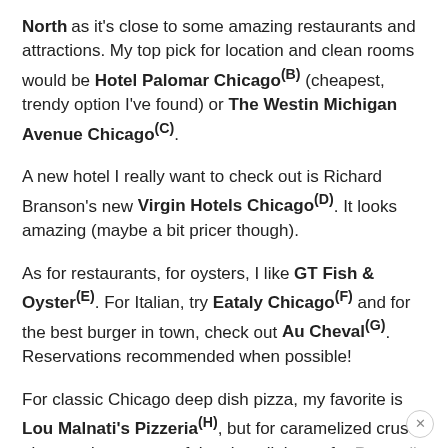North as it's close to some amazing restaurants and attractions. My top pick for location and clean rooms would be Hotel Palomar Chicago(B) (cheapest, trendy option I've found) or The Westin Michigan Avenue Chicago(C).
A new hotel I really want to check out is Richard Branson's new Virgin Hotels Chicago(D). It looks amazing (maybe a bit pricer though).
As for restaurants, for oysters, I like GT Fish & Oyster(E). For Italian, try Eataly Chicago(F) and for the best burger in town, check out Au Cheval(G). Reservations recommended when possible!
For classic Chicago deep dish pizza, my favorite is Lou Malnati's Pizzeria(H), but for caramelized crust pizza and to get out of the city a little, go for Pequod's Pizza(I) in Lincoln Park. You can easily hop the red line or take an Uber.